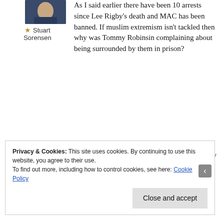[Figure (photo): Partial photo of a person, cropped head/shoulders, dark clothing]
★ Stuart Sorensen
As I said earlier there have been 10 arrests since Lee Rigby's death and MAC has been banned. If muslim extremism isn't tackled then why was Tommy Robinsin complaining about being surrounded by them in prison?
No – forgetcthat questiin and please answer my earlier one….
Privacy & Cookies: This site uses cookies. By continuing to use this website, you agree to their use.
To find out more, including how to control cookies, see here: Cookie Policy
Close and accept